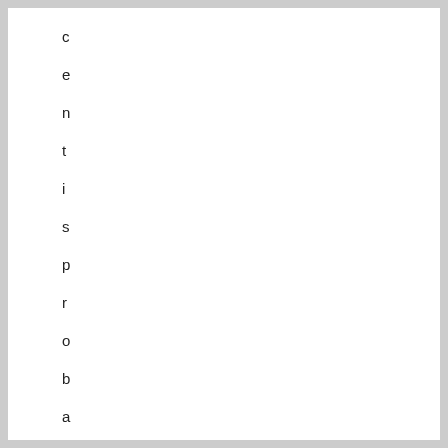c e n t i s p r o b a b l y t h e m o s t w i d e